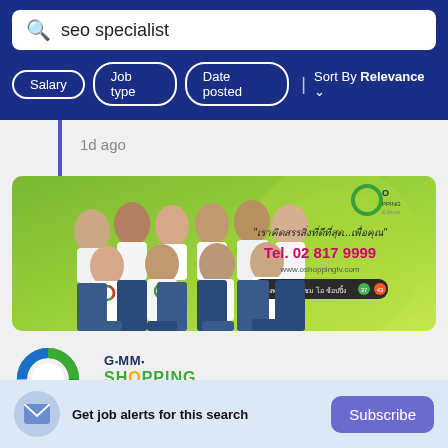seo specialist
Salary
Job type
Date posted
Sort By Relevance
1d ago
[Figure (photo): Banner advertisement for O Shopping (GMM O Shopping) showing a group of employees in white t-shirts with the O Shopping logo, tagline in Thai, phone number Tel. 02 817 9999, website www.oshoppingtv.com, and channel numbers 37 and 43]
[Figure (logo): GMM O Shopping logo - circular ring in green, blue, red, orange with text GMM SHOPPING and Thai text]
Get job alerts for this search
Subscribe